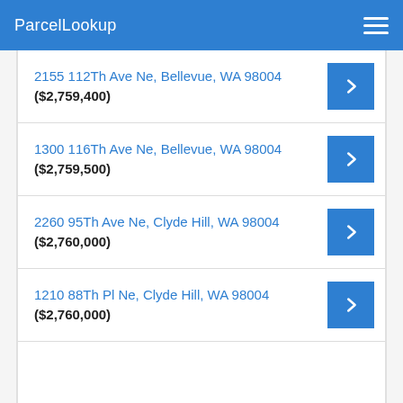ParcelLookup
2155 112Th Ave Ne, Bellevue, WA 98004 ($2,759,400)
1300 116Th Ave Ne, Bellevue, WA 98004 ($2,759,500)
2260 95Th Ave Ne, Clyde Hill, WA 98004 ($2,760,000)
1210 88Th Pl Ne, Clyde Hill, WA 98004 ($2,760,000)